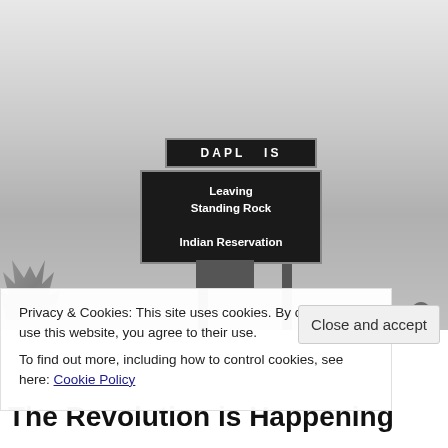[Figure (photo): Black and white photograph of a road sign reading 'Leaving Standing Rock Indian Reservation' with a partial sign above reading 'DAPL IS', set against a grey wintry sky with bare trees on the left.]
Privacy & Cookies: This site uses cookies. By continuing to use this website, you agree to their use.
To find out more, including how to control cookies, see here: Cookie Policy
Close and accept
The Revolution is Happening